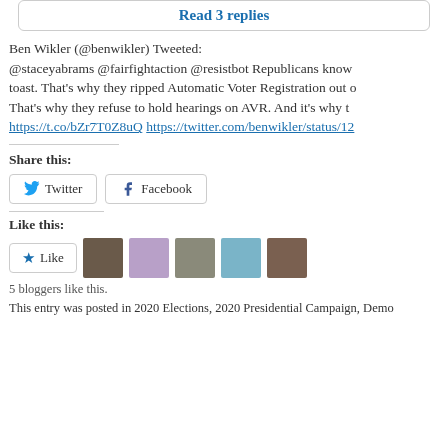Read 3 replies
Ben Wikler (@benwikler) Tweeted:
@staceyabrams @fairfightaction @resistbot Republicans know toast. That's why they ripped Automatic Voter Registration out of That's why they refuse to hold hearings on AVR. And it's why t https://t.co/bZr7T0Z8uQ https://twitter.com/benwikler/status/12
Share this:
Twitter  Facebook
Like this:
Like  5 bloggers like this.
This entry was posted in 2020 Elections, 2020 Presidential Campaign, Demo